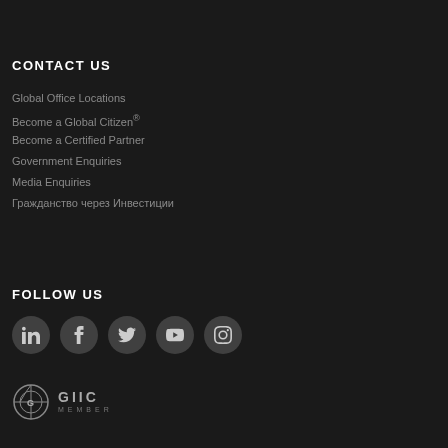CONTACT US
Global Office Locations
Become a Global Citizen®
Become a Certified Partner
Government Enquiries
Media Enquiries
Гражданство через Инвестиции
FOLLOW US
[Figure (other): Social media icons: LinkedIn, Facebook, Twitter, YouTube, Instagram in dark circles]
[Figure (logo): GIIC Member logo with circular emblem and text GIIC MEMBER]